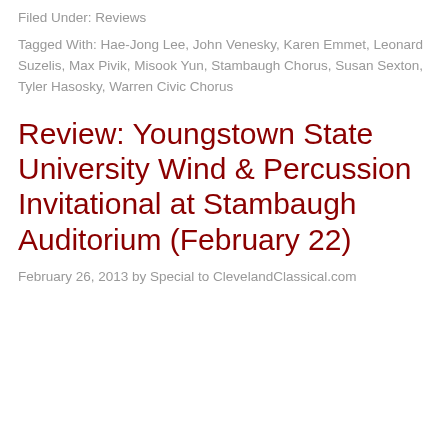Filed Under: Reviews
Tagged With: Hae-Jong Lee, John Venesky, Karen Emmet, Leonard Suzelis, Max Pivik, Misook Yun, Stambaugh Chorus, Susan Sexton, Tyler Hasosky, Warren Civic Chorus
Review: Youngstown State University Wind & Percussion Invitational at Stambaugh Auditorium (February 22)
February 26, 2013 by Special to ClevelandClassical.com